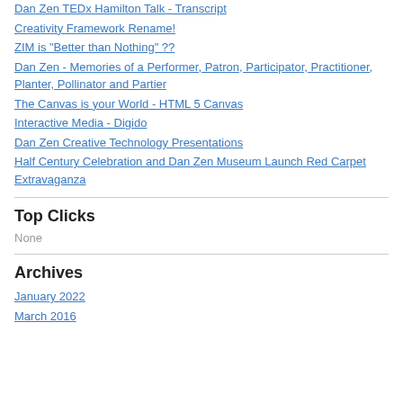Dan Zen TEDx Hamilton Talk - Transcript
Creativity Framework Rename!
ZIM is "Better than Nothing" ??
Dan Zen - Memories of a Performer, Patron, Participator, Practitioner, Planter, Pollinator and Partier
The Canvas is your World - HTML 5 Canvas
Interactive Media - Digido
Dan Zen Creative Technology Presentations
Half Century Celebration and Dan Zen Museum Launch Red Carpet Extravaganza
Top Clicks
None
Archives
January 2022
March 2016